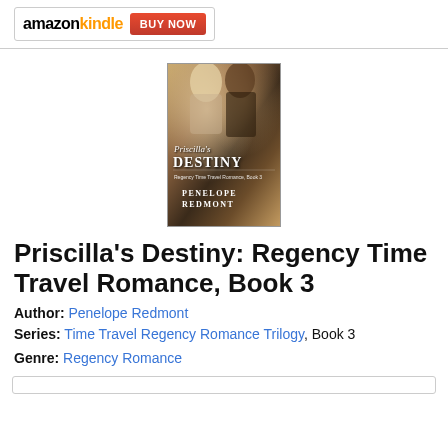[Figure (logo): Amazon Kindle logo with orange 'kindle' text and a red 'BUY NOW' button]
[Figure (photo): Book cover of 'Priscilla's Destiny: Regency Time Travel Romance, Book 3' by Penelope Redmont, showing a couple about to kiss with a golden/warm-toned background]
Priscilla's Destiny: Regency Time Travel Romance, Book 3
Author: Penelope Redmont
Series: Time Travel Regency Romance Trilogy, Book 3
Genre: Regency Romance